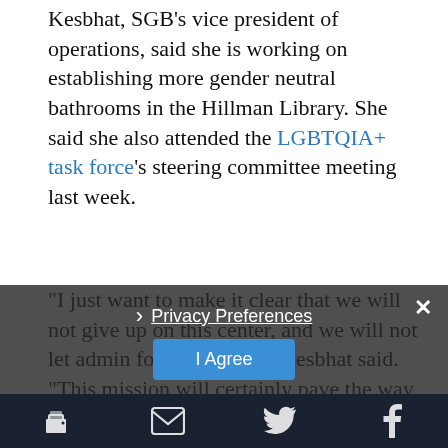Kesbhat, SGB's vice president of operations, said she is working on establishing more gender neutral bathrooms in the Hillman Library. She said she also attended the LGBTQIA+ task force's steering committee meeting last week.
“I just want to make it clear that we will not give up on this center, and we will not let admin forget about it,” Kesbhat said. “This mission will certainly pave the way for making spaces for all students and communities.”
Floyd, SGB’s vice president of initiatives, said she is working with the Campus-Wellbeing Task Force to develop methods of outreach to the student body to promote Thrive@Pitt — a website students can use to find resources for their physical, financial and social wellbeing.